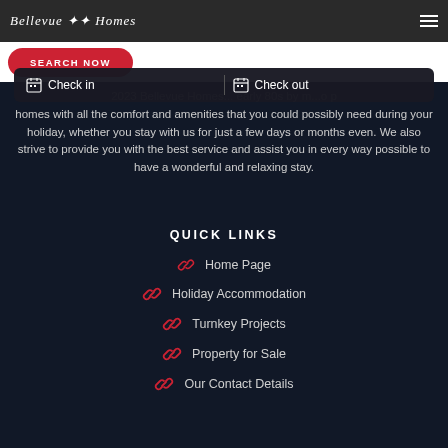Bellevue Homes
...2023 Bellevue Homes...early 80s by m...o p...homes with all the comfort and amenities that you could possibly need during your holiday, whether you stay with us for just a few days or months even. We also strive to provide you with the best service and assist you in every way possible to have a wonderful and relaxing stay.
QUICK LINKS
Home Page
Holiday Accommodation
Turnkey Projects
Property for Sale
Our Contact Details